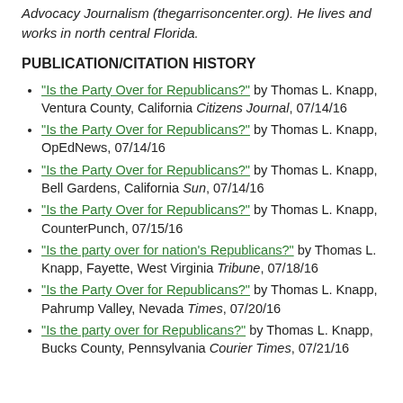Advocacy Journalism (thegarrisoncenter.org). He lives and works in north central Florida.
PUBLICATION/CITATION HISTORY
"Is the Party Over for Republicans?" by Thomas L. Knapp, Ventura County, California Citizens Journal, 07/14/16
"Is the Party Over for Republicans?" by Thomas L. Knapp, OpEdNews, 07/14/16
"Is the Party Over for Republicans?" by Thomas L. Knapp, Bell Gardens, California Sun, 07/14/16
"Is the Party Over for Republicans?" by Thomas L. Knapp, CounterPunch, 07/15/16
"Is the party over for nation's Republicans?" by Thomas L. Knapp, Fayette, West Virginia Tribune, 07/18/16
"Is the Party Over for Republicans?" by Thomas L. Knapp, Pahrump Valley, Nevada Times, 07/20/16
"Is the party over for Republicans?" by Thomas L. Knapp, Bucks County, Pennsylvania Georgia Times, 07/21/16